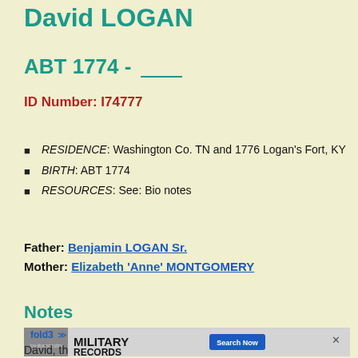David LOGAN
ABT 1774 - ____
ID Number: I74777
RESIDENCE: Washington Co. TN and 1776 Logan's Fort, KY
BIRTH: ABT 1774
RESOURCES: See: Bio notes
Father: Benjamin LOGAN Sr.
Mother: Elizabeth 'Anne' MONTGOMERY
Notes
[Figure (screenshot): Fold3 by Ancestry advertisement banner for Military Records with Search Now button]
David, th